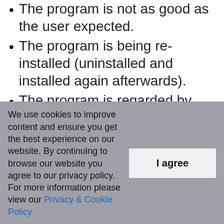The program is not as good as the user expected.
The program is being re-installed (uninstalled and installed again afterwards).
The program is regarded by the user and/or some websites as a potentially malicious.
The program is not listed in the Windows Settings or Control Panel.
We use cookies to improve content and ensure you get the best experience on our website. By continuing to browse our website you agree to our privacy policy.
For more information please view our Privacy & Cookie Policy